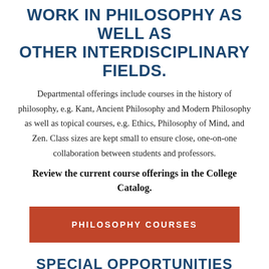WORK IN PHILOSOPHY AS WELL AS OTHER INTERDISCIPLINARY FIELDS.
Departmental offerings include courses in the history of philosophy, e.g. Kant, Ancient Philosophy and Modern Philosophy as well as topical courses, e.g. Ethics, Philosophy of Mind, and Zen. Class sizes are kept small to ensure close, one-on-one collaboration between students and professors.
Review the current course offerings in the College Catalog.
[Figure (other): Red/orange button labeled PHILOSOPHY COURSES]
SPECIAL OPPORTUNITIES